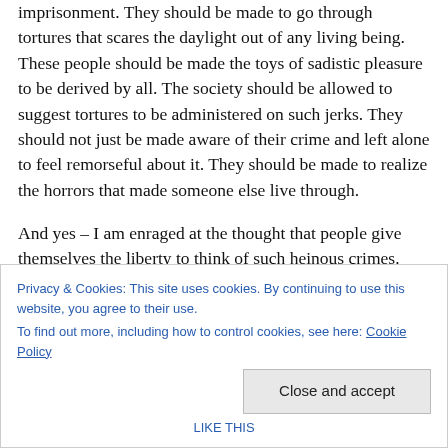imprisonment. They should be made to go through tortures that scares the daylight out of any living being. These people should be made the toys of sadistic pleasure to be derived by all. The society should be allowed to suggest tortures to be administered on such jerks. They should not just be made aware of their crime and left alone to feel remorseful about it. They should be made to realize the horrors that made someone else live through.
And yes – I am enraged at the thought that people give themselves the liberty to think of such heinous crimes.
Privacy & Cookies: This site uses cookies. By continuing to use this website, you agree to their use. To find out more, including how to control cookies, see here: Cookie Policy
Close and accept